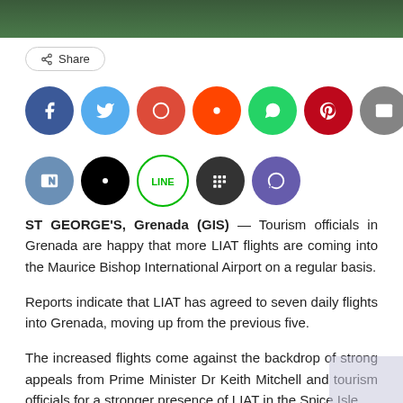[Figure (photo): Top banner image showing green foliage/landscape]
[Figure (infographic): Share button with rounded border and social media sharing icon, followed by two rows of colorful circular social media icons (Facebook, Twitter, Google+, Reddit, WhatsApp, Pinterest, Email, LinkedIn, Tumblr, Telegram, StumbleUpon, VK, Black circle, LINE, BlackBerry, Viber)]
ST GEORGE'S, Grenada (GIS) — Tourism officials in Grenada are happy that more LIAT flights are coming into the Maurice Bishop International Airport on a regular basis.
Reports indicate that LIAT has agreed to seven daily flights into Grenada, moving up from the previous five.
The increased flights come against the backdrop of strong appeals from Prime Minister Dr Keith Mitchell and tourism officials for a stronger presence of LIAT in the Spice Isle.
Mitchell raised the issue at the recent CARICOM heads of government meeting in Port of Spain, Trinidad.